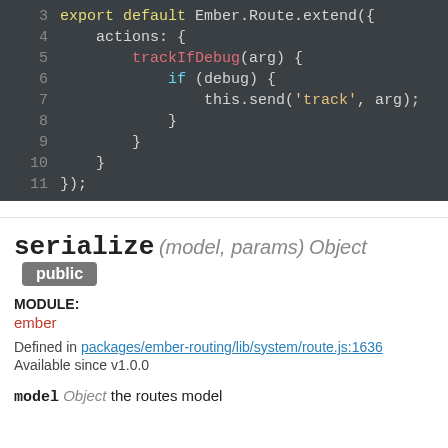[Figure (screenshot): Code block showing JavaScript lines 3-11 with syntax highlighting on dark background. Export default Ember.Route.extend with actions containing trackIfDebug function.]
serialize (model, params) Object  public
MODULE:
ember
Defined in packages/ember-routing/lib/system/route.js:1636
Available since v1.0.0
model Object  the routes model